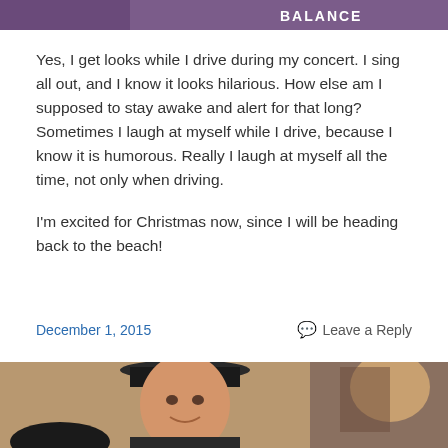[Figure (photo): Top portion of an image showing a sign with the word BALANCE visible on a purple/dark background]
Yes, I get looks while I drive during my concert.  I sing all out, and I know it looks hilarious.  How else am I supposed to stay awake and alert for that long?  Sometimes I laugh at myself while I drive, because I know it is humorous.  Really I laugh at myself all the time, not only when driving.
I'm excited for Christmas now, since I will be heading back to the beach!
December 1, 2015
Leave a Reply
[Figure (photo): A selfie photo showing a young person wearing a black fedora hat smiling, and a bald person visible on the right side]